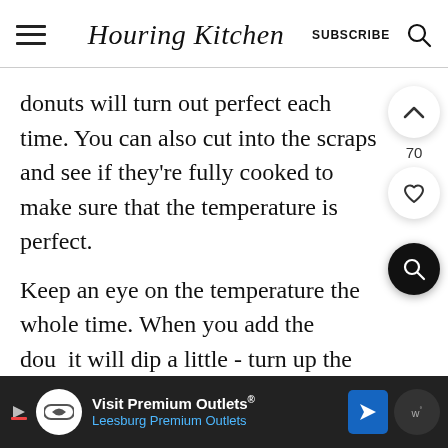Houring Kitchen | SUBSCRIBE
donuts will turn out perfect each time. You can also cut into the scraps and see if they're fully cooked to make sure that the temperature is perfect.
Keep an eye on the temperature the whole time. When you add the dough it will dip a little - turn up the heat a b... you
Visit Premium Outlets® Leesburg Premium Outlets